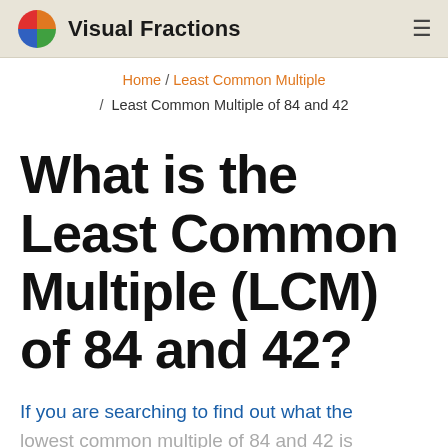Visual Fractions
Home / Least Common Multiple / Least Common Multiple of 84 and 42
What is the Least Common Multiple (LCM) of 84 and 42?
If you are searching to find out what the lowest common multiple of 84 and 42 is then you probably figured out you are in